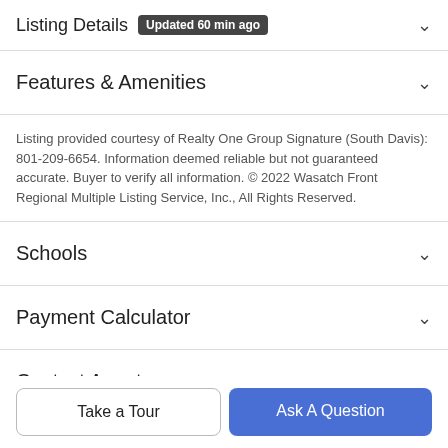Listing Details Updated 60 min ago
Features & Amenities
Listing provided courtesy of Realty One Group Signature (South Davis): 801-209-6654. Information deemed reliable but not guaranteed accurate. Buyer to verify all information. © 2022 Wasatch Front Regional Multiple Listing Service, Inc., All Rights Reserved.
Schools
Payment Calculator
Contact Agent
Take a Tour
Ask A Question